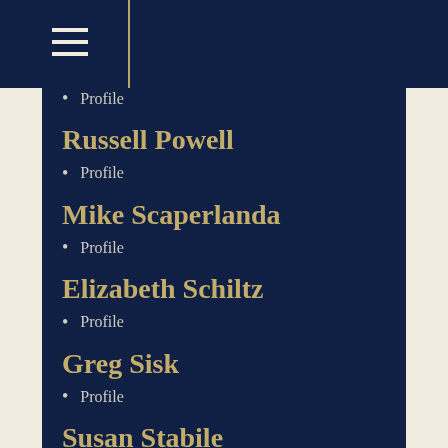Profile
Russell Powell
Profile
Mike Scaperlanda
Profile
Elizabeth Schiltz
Profile
Greg Sisk
Profile
Susan Stabile
Profile
Amy Uelmen
Profile
Adrian Vermeule